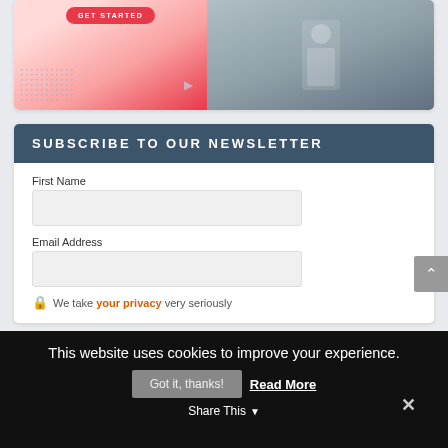[Figure (screenshot): Partial screenshot of a promotional banner with a red 'GET STARTED' button on the left side and a person holding a phone on the right side]
SUBSCRIBE TO OUR NEWSLETTER
First Name
Email Address
🔒 We take your privacy very seriously
This website uses cookies to improve your experience.
Got it, thanks!
Read More
Share This